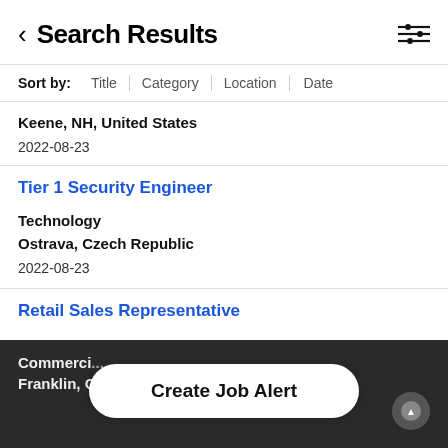Search Results
Sort by: Title | Category | Location | Date
Keene, NH, United States
2022-08-23
Tier 1 Security Engineer
Technology
Ostrava, Czech Republic
2022-08-23
Retail Sales Representative
Commerci...
Franklin, Oh...
Create Job Alert